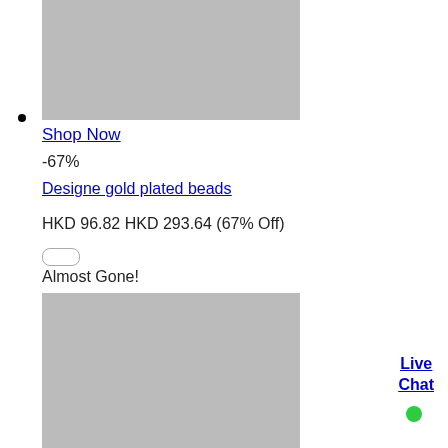[Figure (photo): Product image placeholder (gray rectangle) at top]
•
Shop Now
-67%
Designe gold plated beads
HKD 96.82 HKD 293.64 (67% Off)
[Figure (other): Small pill/button UI element]
Almost Gone!
[Figure (photo): Product image placeholder (gray rectangle) at bottom]
Live Chat